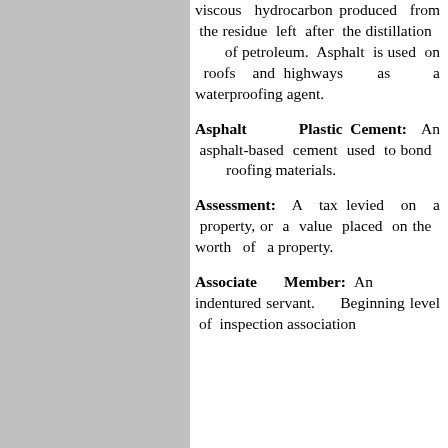viscous hydrocarbon produced from the residue left after the distillation of petroleum. Asphalt is used on roofs and highways as a waterproofing agent.
Asphalt Plastic Cement: An asphalt-based cement used to bond roofing materials.
Assessment: A tax levied on a property, or a value placed on the worth of a property.
Associate Member: An indentured servant. Beginning level of inspection association